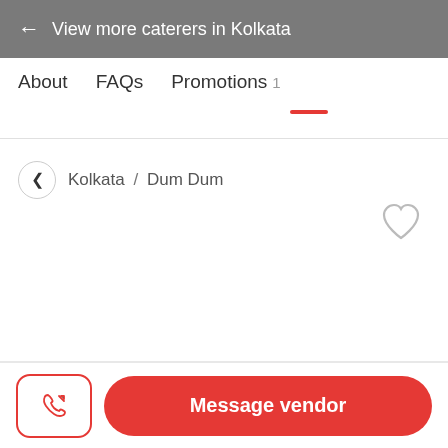← View more caterers in Kolkata
About   FAQs   Promotions 1
Kolkata / Dum Dum
Message vendor